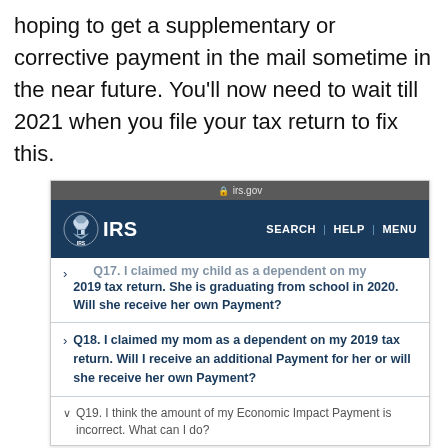hoping to get a supplementary or corrective payment in the mail sometime in the near future. You'll now need to wait till 2021 when you file your tax return to fix this.
[Figure (screenshot): Screenshot of IRS.gov website showing navigation bar with IRS logo, SEARCH, HELP, MENU links, and FAQ items Q17, Q18, Q19 about Economic Impact Payments and dependents.]
Q17. I claimed my child as a dependent on my 2019 tax return. She is graduating from school in 2020. Will she receive her own Payment?
Q18. I claimed my mom as a dependent on my 2019 tax return. Will I receive an additional Payment for her or will she receive her own Payment?
Q19. I think the amount of my Economic Impact Payment is incorrect. What can I do?